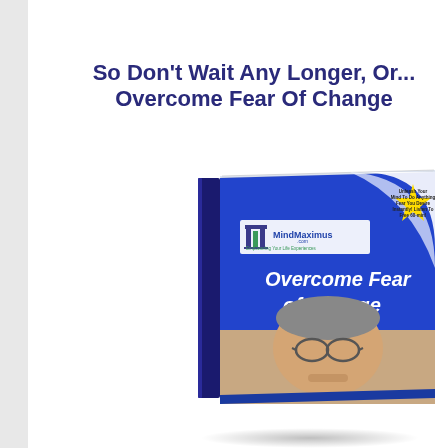So Don't Wait Any Longer, Or... Overcome Fear Of Change
[Figure (illustration): 3D book cover for 'Overcome Fear of Change' by MindMaximus.com, showing a man with glasses resting his chin on his fist, with a blue and white cover design and yellow starburst badge in the corner.]